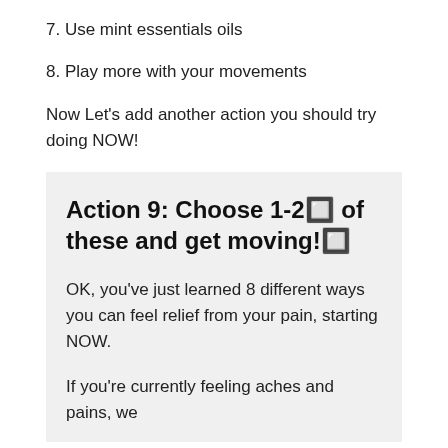7. Use mint essentials oils
8. Play more with your movements
Now Let's add another action you should try doing NOW!
Action 9: Choose 1-2🔲 of these and get moving!🔲
OK, you've just learned 8 different ways you can feel relief from your pain, starting NOW.
If you're currently feeling aches and pains, we